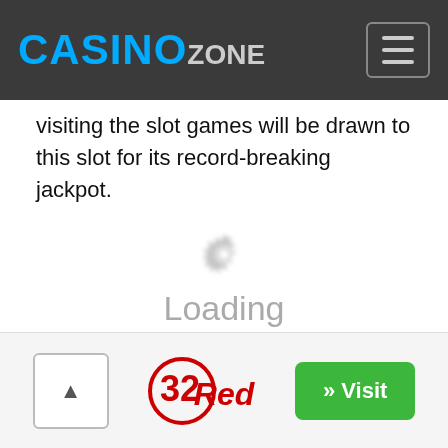CasinoZone
visiting the slot games will be drawn to this slot for its record-breaking jackpot.
[Figure (illustration): A blurred grey gear/settings icon with 'Loading' text beneath it, indicating a loading state for a slot game.]
Scroll to top | 32Red | » Visit